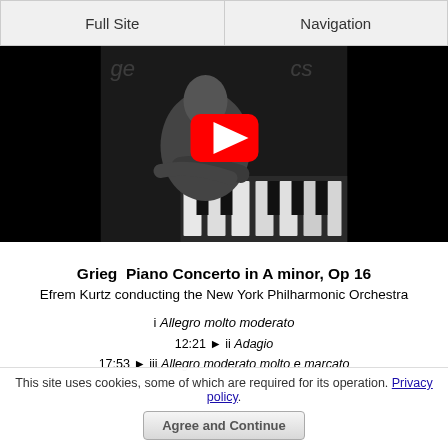Full Site | Navigation
[Figure (screenshot): YouTube video thumbnail showing a black and white photo of a pianist playing piano, with a red YouTube play button overlay in the center]
Grieg  Piano Concerto in A minor, Op 16
Efrem Kurtz conducting the New York Philharmonic Orchestra
i Allegro molto moderato
12:21 ► ii Adagio
17:53 ► iii Allegro moderato molto e marcato
This site uses cookies, some of which are required for its operation. Privacy policy.
Agree and Continue